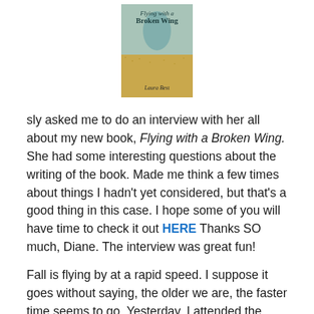[Figure (photo): Book cover of 'Flying with a Broken Wing' by Laura Best, showing a teal/blue bird silhouette over a textured golden/tan background]
sly asked me to do an interview with her all about my new book, Flying with a Broken Wing. She had some interesting questions about the writing of the book. Made me think a few times about things I hadn't yet considered, but that's a good thing in this case. I hope some of you will have time to check it out HERE Thanks SO much, Diane. The interview was great fun!
Fall is flying by at a rapid speed. I suppose it goes without saying, the older we are, the faster time seems to go. Yesterday, I attended the funeral of someone from the community I'd known all my life. The past was certainly